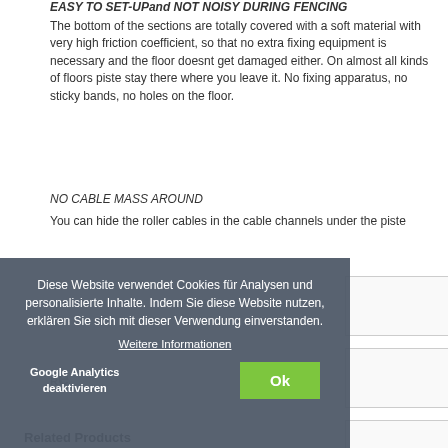EASY TO SET-UP and NOT NOISY DURING FENCING
The bottom of the sections are totally covered with a soft material with very high friction coefficient, so that no extra fixing equipment is necessary and the floor doesnt get damaged either. On almost all kinds of floors piste stay there where you leave it. No fixing apparatus, no sticky bands, no holes on the floor.
NO CABLE MASS AROUND
You can hide the roller cables in the cable channels under the piste
[Figure (screenshot): Cookie consent overlay in German: 'Diese Website verwendet Cookies für Analysen und personalisierte Inhalte. Indem Sie diese Website nutzen, erklären Sie sich mit dieser Verwendung einverstanden.' with a 'Weitere Informationen' link, a 'Google Analytics deaktivieren' button, and an 'Ok' green button.]
Product Tags
Related Products